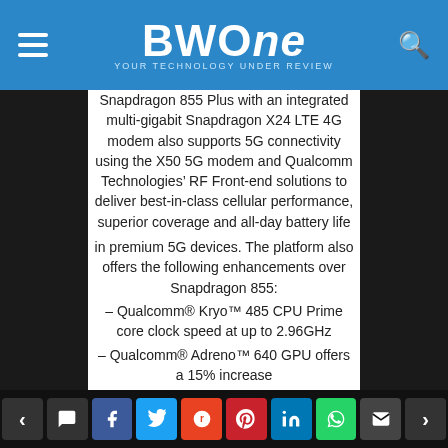BWOne - YOUR TECHNOLOGY UNDER REVIEW
Snapdragon 855 Plus with an integrated multi-gigabit Snapdragon X24 LTE 4G modem also supports 5G connectivity using the X50 5G modem and Qualcomm Technologies' RF Front-end solutions to deliver best-in-class cellular performance, superior coverage and all-day battery life in premium 5G devices. The platform also offers the following enhancements over Snapdragon 855:
– Qualcomm® Kryo™ 485 CPU Prime core clock speed at up to 2.96GHz
– Qualcomm® Adreno™ 640 GPU offers a 15% increase
Snapdragon 855 Plus includes many of the latest
Navigation and sharing buttons